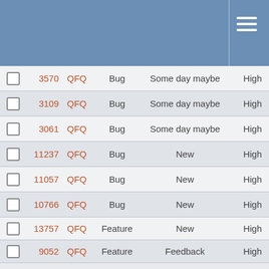|  | ID | Project | Type | Status | Priority |
| --- | --- | --- | --- | --- | --- |
|  | 3570 | QFQ | Bug | Some day maybe | High |
|  | 3109 | QFQ | Bug | Some day maybe | High |
|  | 3061 | QFQ | Bug | Some day maybe | High |
|  | 11237 | QFQ | Bug | New | High |
|  | 11057 | QFQ | Bug | New | High |
|  | 10766 | QFQ | Bug | New | High |
|  | 13757 | QFQ | Feature | New | High |
|  | 9052 | QFQ | Feature | Feedback | High |